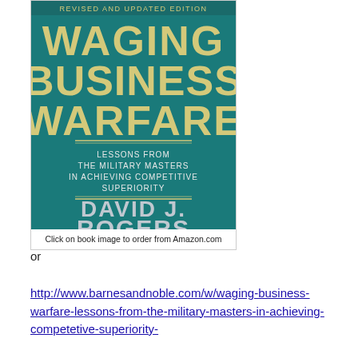[Figure (illustration): Book cover of 'Waging Business Warfare: Lessons from the Military Masters in Achieving Competitive Superiority' by David J. Rogers, Revised and Updated Edition, Author of Fighting to Win. Teal/dark green background with gold and silver text. Below the cover image is the caption: Click on book image to order from Amazon.com]
Click on book image to order from Amazon.com
or
http://www.barnesandnoble.com/w/waging-business-warfare-lessons-from-the-military-masters-in-achieving-competetive-superiority-